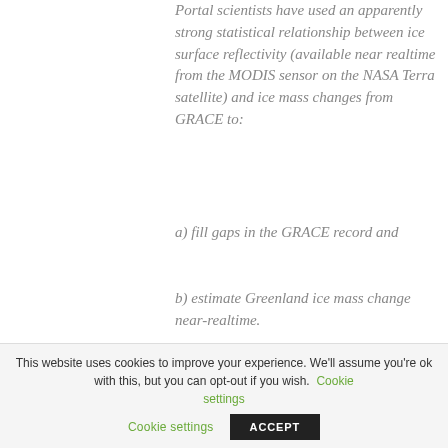Portal scientists have used an apparently strong statistical relationship between ice surface reflectivity (available near realtime from the MODIS sensor on the NASA Terra satellite) and ice mass changes from GRACE to:
a) fill gaps in the GRACE record and
b) estimate Greenland ice mass change near-realtime.
This website uses cookies to improve your experience. We'll assume you're ok with this, but you can opt-out if you wish. Cookie settings ACCEPT